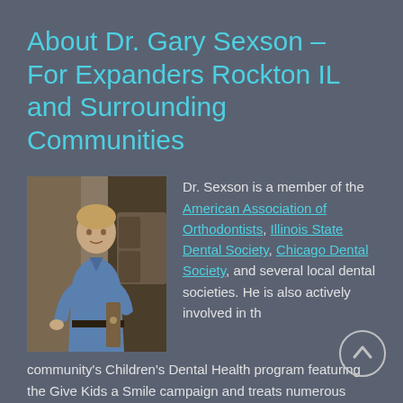About Dr. Gary Sexson – For Expanders Rockton IL and Surrounding Communities
[Figure (photo): Photo of Dr. Gary Sexson standing in a dental office, wearing a blue polo shirt]
Dr. Sexson is a member of the American Association of Orthodontists, Illinois State Dental Society, Chicago Dental Society, and several local dental societies. He is also actively involved in the community's Children's Dental Health program featuring the Give Kids a Smile campaign and treats numerous patients